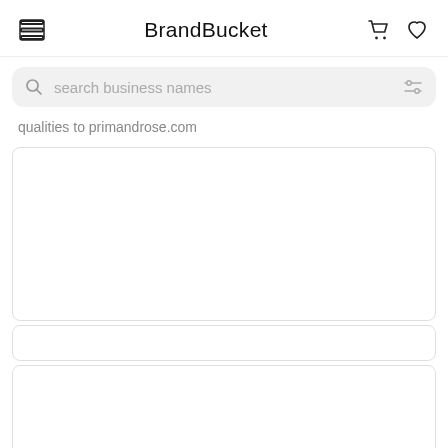BrandBucket
[Figure (screenshot): Search bar with magnifying glass icon, placeholder text 'search business names', and filter icon on the right, on a light gray rounded background]
qualities to primandrose.com
[Figure (other): White card placeholder area, large]
[Figure (other): White card placeholder area, small]
[Figure (other): White card placeholder area, bottom]